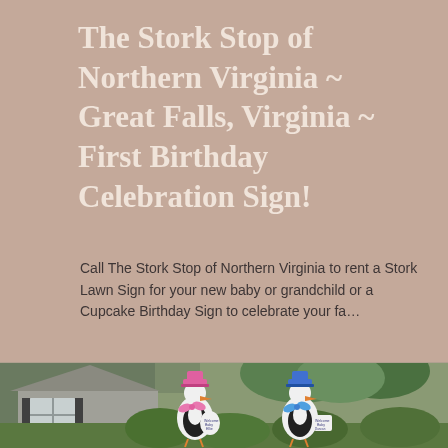The Stork Stop of Northern Virginia ~ Great Falls, Virginia ~ First Birthday Celebration Sign!
Call The Stork Stop of Northern Virginia to rent a Stork Lawn Sign for your new baby or grandchild or a Cupcake Birthday Sign to celebrate your fa…
[Figure (photo): Photograph of two stork lawn signs in a garden in front of a house. One stork wears a pink hat and bow, holding a sign reading 'Welcome Baby Ellie'. The other wears a blue hat and bow, holding a sign reading 'Welcome Baby Duncan'. Both are white stork figurines dressed formally.]